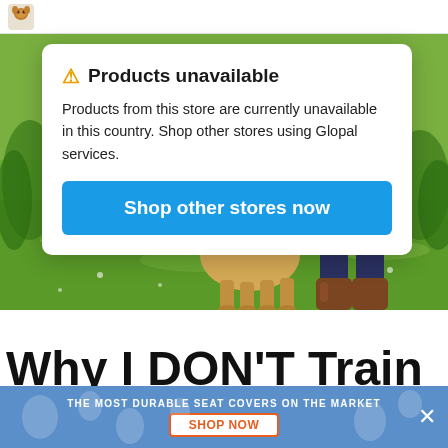[Figure (screenshot): Website screenshot showing a pet store page with a golden retriever dog and person standing on grass, partially obscured by a modal dialog]
Products unavailable
Products from this store are currently unavailable in this country. Shop other stores using Glopal services.
Shop other stores now
Why I DON'T Train
THE MOST DURABLE SEAT COVERS ON THE MARKET
SHOP NOW